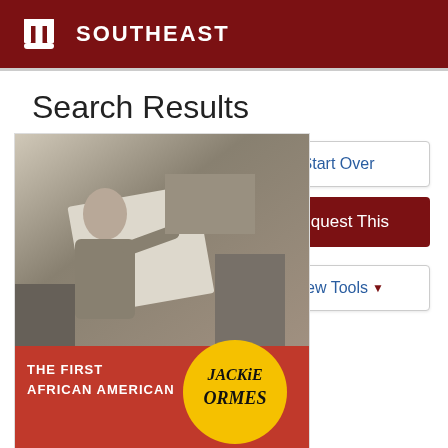IU SOUTHEAST
Search Results
Start Over
Request This
View Tools
[Figure (photo): Book cover for 'Jackie Ormes: The First African American' showing a black and white photo of a woman drawing at an easel, with the title text on a red band at the bottom and the name 'Jackie Ormes' in a yellow circle badge.]